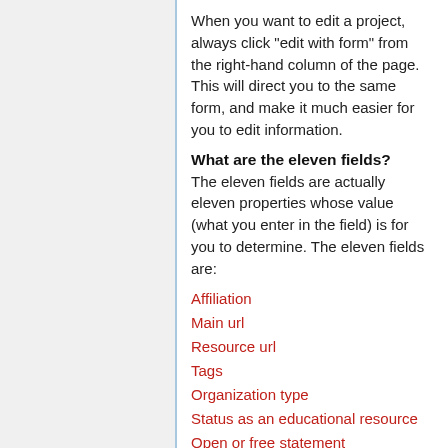When you want to edit a project, always click "edit with form" from the right-hand column of the page. This will direct you to the same form, and make it much easier for you to edit information.
What are the eleven fields?
The eleven fields are actually eleven properties whose value (what you enter in the field) is for you to determine. The eleven fields are:
Affiliation
Main url
Resource url
Tags
Organization type
Status as an educational resource
Open or free statement
License provider
License short name